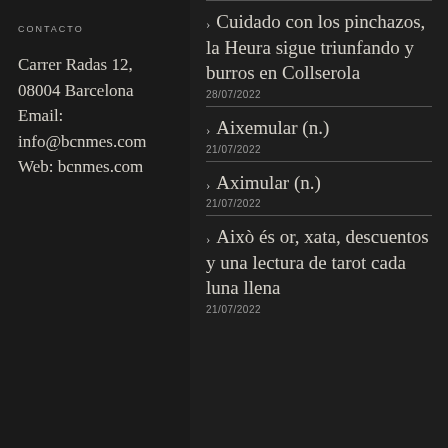CONTACTO
Carrer Radas 12, 08004 Barcelona
Email: info@bcnmes.com
Web: bcnmes.com
Cuidado con los pinchazos, la Heura sigue triunfando y burros en Collserola
28/07/2022
Aixemular (n.)
21/07/2022
Aximular (n.)
21/07/2022
Això és or, xata, descuentos y una lectura de tarot cada luna llena
21/07/2022